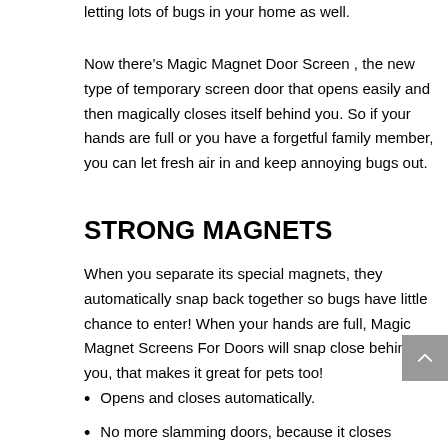letting lots of bugs in your home as well.
Now there’s Magic Magnet Door Screen , the new type of temporary screen door that opens easily and then magically closes itself behind you. So if your hands are full or you have a forgetful family member, you can let fresh air in and keep annoying bugs out.
STRONG MAGNETS
When you separate its special magnets, they automatically snap back together so bugs have little chance to enter! When your hands are full, Magic Magnet Screens For Doors will snap close behind you, that makes it great for pets too!
Opens and closes automatically.
No more slamming doors, because it closes gently